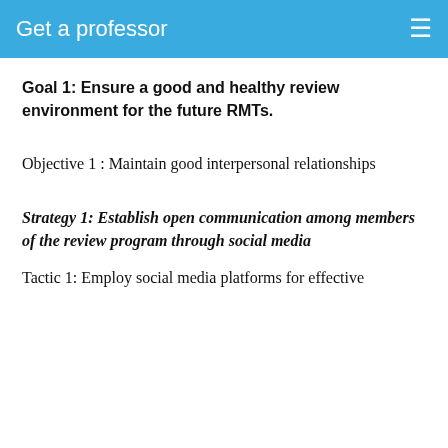Get a professor
Goal 1: Ensure a good and healthy review environment for the future RMTs.
Objective 1 : Maintain good interpersonal relationships
Strategy 1: Establish open communication among members of the review program through social media
Tactic 1: Employ social media platforms for effective